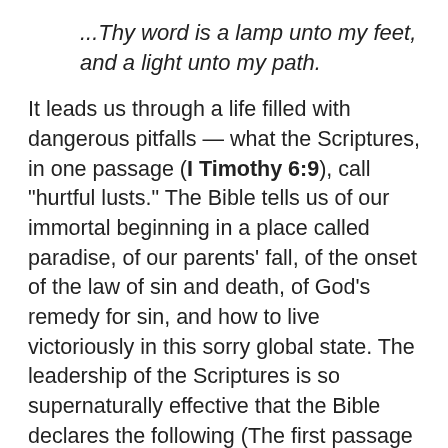...Thy word is a lamp unto my feet, and a light unto my path.
It leads us through a life filled with dangerous pitfalls — what the Scriptures, in one passage (I Timothy 6:9), call "hurtful lusts." The Bible tells us of our immortal beginning in a place called paradise, of our parents' fall, of the onset of the law of sin and death, of God's remedy for sin, and how to live victoriously in this sorry global state. The leadership of the Scriptures is so supernaturally effective that the Bible declares the following (The first passage deals with a nation that obeys.): Deuteronomy 11:18-21:
18 Therefore shall ye lay up these my words in your heart and in your soul, and